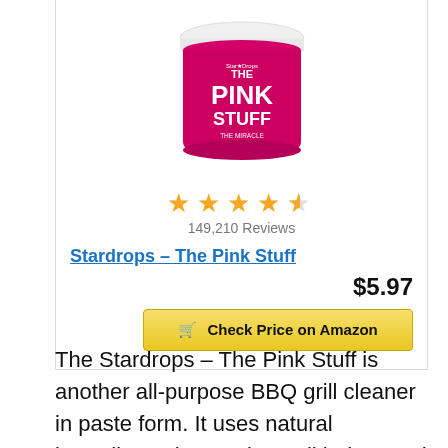[Figure (photo): The Pink Stuff miracle cleaning paste jar by Stardrops — pink and white container]
★★★★½ 149,210 Reviews
Stardrops – The Pink Stuff
$5.97
🛒 Check Price on Amazon
The Stardrops – The Pink Stuff is another all-purpose BBQ grill cleaner in paste form. It uses natural ingredients that work on all indoor and outdoor surfaces.